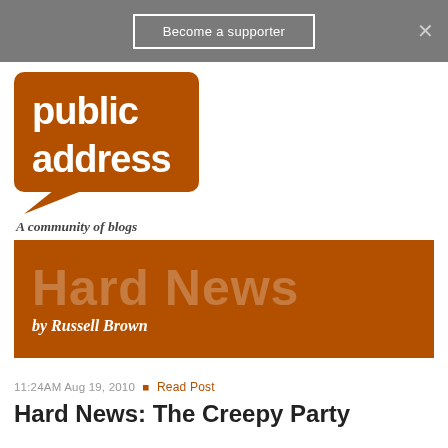Become a supporter
[Figure (logo): Public Address - A community of blogs logo, brown speech bubble shape with white text]
[Figure (illustration): Hard News by Russell Brown - brown banner with large watermark text]
11:24AM Aug 19, 2010 • Read Post
Hard News: The Creepy Party
287 RESPONSES    Subscribe by [email] [rss]
← Older  1  2  3  4  5  6 ... 12  Newer →